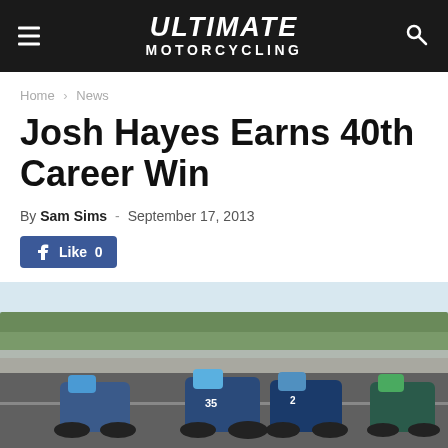Ultimate Motorcycling
Home › News
Josh Hayes Earns 40th Career Win
By Sam Sims - September 17, 2013
[Figure (screenshot): Facebook Like button showing 0 likes]
[Figure (photo): Motorcycle racers on a track, multiple riders leaning into a turn on a race circuit, trees and fence visible in background]